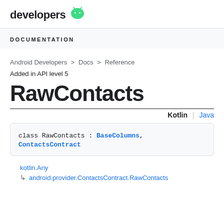developers
DOCUMENTATION
Android Developers > Docs > Reference
Added in API level 5
RawContacts
Kotlin | Java
class RawContacts : BaseColumns, ContactsContract
kotlin.Any
android.provider.ContactsContract.RawContacts